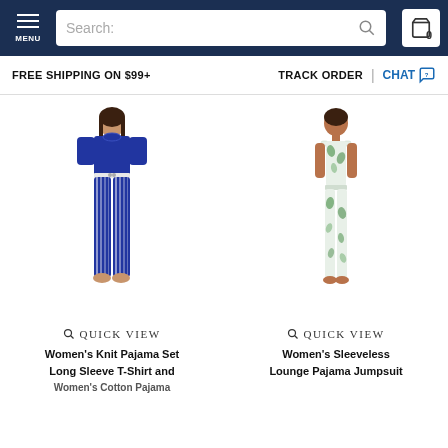MENU | Search: | 0
FREE SHIPPING ON $99+   TRACK ORDER | CHAT
[Figure (photo): Model wearing Women's Knit Pajama Set - navy blue long sleeve top with striped pants]
QUICK VIEW
Women's Knit Pajama Set Long Sleeve T-Shirt and Women's Cotton Pajama
[Figure (photo): Model wearing Women's Sleeveless Lounge Pajama Jumpsuit - white with green floral print]
QUICK VIEW
Women's Sleeveless Lounge Pajama Jumpsuit